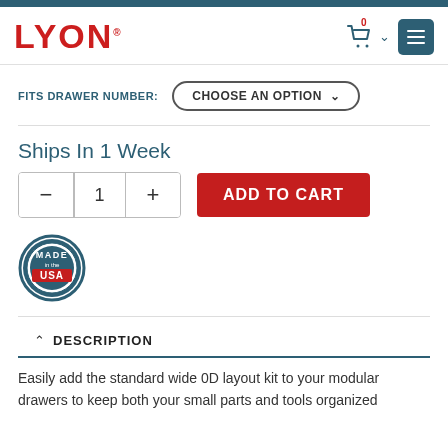[Figure (logo): LYON logo in red bold text with trademark symbol]
[Figure (screenshot): Shopping cart icon with 0 count badge, chevron, and teal menu button]
FITS DRAWER NUMBER:
CHOOSE AN OPTION
Ships In 1 Week
ADD TO CART
[Figure (illustration): Made in the USA circular badge/seal in teal and red]
DESCRIPTION
Easily add the standard wide 0D layout kit to your modular drawers to keep both your small parts and tools organized